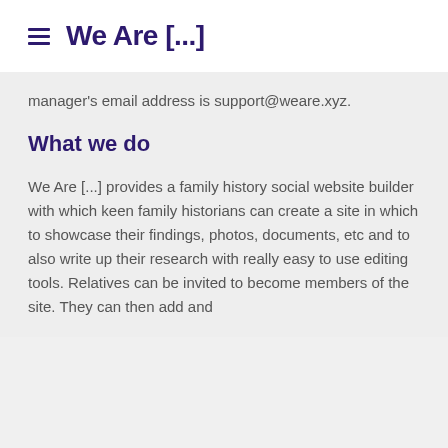We Are [...]
manager's email address is support@weare.xyz.
What we do
We Are [...] provides a family history social website builder with which keen family historians can create a site in which to showcase their findings, photos, documents, etc and to also write up their research with really easy to use editing tools. Relatives can be invited to become members of the site. They can then add and